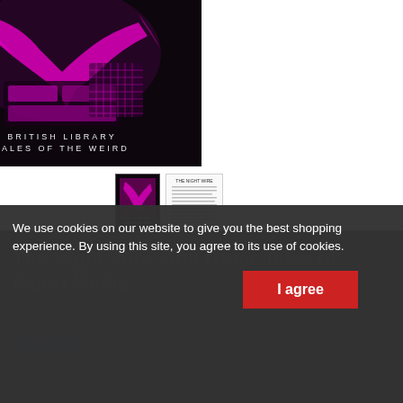[Figure (illustration): Book cover of 'The Night Wire' from British Library Tales of the Weird series. Dark/black background with pink/magenta illustration of a person at a control panel or machinery. Text at bottom reads 'BRITISH LIBRARY TALES OF THE WEIRD'.]
[Figure (photo): Small thumbnail of the book cover (front).]
[Figure (photo): Small thumbnail of an interior page with text lines.]
The Night Wire: and Other Tales of Weird Media
£9.99
We use cookies on our website to give you the best shopping experience. By using this site, you agree to its use of cookies.
I agree